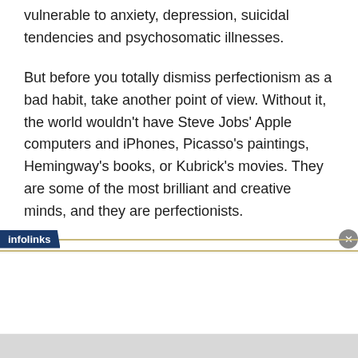vulnerable to anxiety, depression, suicidal tendencies and psychosomatic illnesses.
But before you totally dismiss perfectionism as a bad habit, take another point of view. Without it, the world wouldn't have Steve Jobs' Apple computers and iPhones, Picasso's paintings, Hemingway's books, or Kubrick's movies. They are some of the most brilliant and creative minds, and they are perfectionists.
infolinks